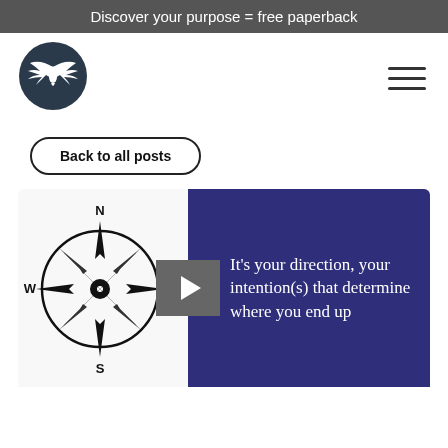Discover your purpose = free paperback
[Figure (logo): Circular dark navy logo with winged bird silhouette in white]
Back to all posts
[Figure (illustration): Compass rose with N, S, E, W labels in black and white]
It's your direction, your intention(s) that determine where you end up